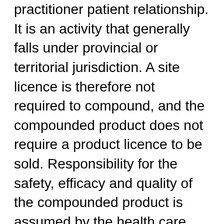practitioner patient relationship. It is an activity that generally falls under provincial or territorial jurisdiction. A site licence is therefore not required to compound, and the compounded product does not require a product licence to be sold. Responsibility for the safety, efficacy and quality of the compounded product is assumed by the health care practitioner.
The practice of compounding is excluded from the scope of NHP Regulations through the manufacturer definition:
"Manufacturer" means a person who